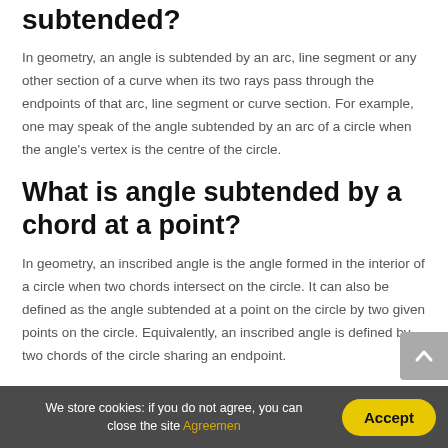subtended?
In geometry, an angle is subtended by an arc, line segment or any other section of a curve when its two rays pass through the endpoints of that arc, line segment or curve section. For example, one may speak of the angle subtended by an arc of a circle when the angle's vertex is the centre of the circle.
What is angle subtended by a chord at a point?
In geometry, an inscribed angle is the angle formed in the interior of a circle when two chords intersect on the circle. It can also be defined as the angle subtended at a point on the circle by two given points on the circle. Equivalently, an inscribed angle is defined by two chords of the circle sharing an endpoint.
We store cookies: if you do not agree, you can close the site Agreemen